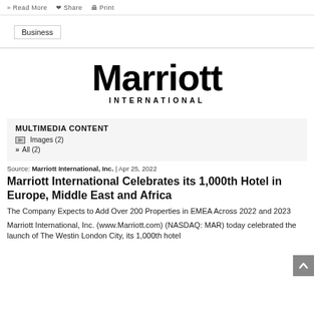read more | share | print
Business
[Figure (logo): Marriott International logo — large black stylized 'Marriott' wordmark with 'INTERNATIONAL' in spaced capitals below]
MULTIMEDIA CONTENT
Images (2)
» All (2)
Source: Marriott International, Inc. | Apr 25, 2022
Marriott International Celebrates its 1,000th Hotel in Europe, Middle East and Africa
The Company Expects to Add Over 200 Properties in EMEA Across 2022 and 2023
Marriott International, Inc. (www.Marriott.com) (NASDAQ: MAR) today celebrated the launch of The Westin London City, its 1,000th hotel